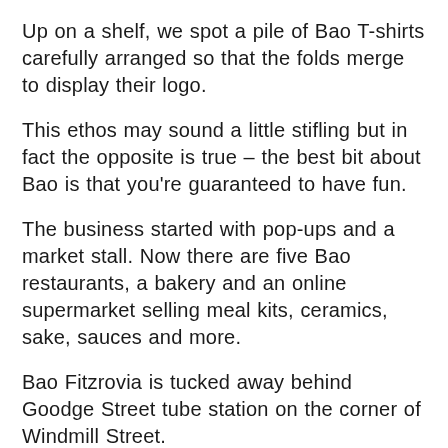Up on a shelf, we spot a pile of Bao T-shirts carefully arranged so that the folds merge to display their logo.
This ethos may sound a little stifling but in fact the opposite is true – the best bit about Bao is that you're guaranteed to have fun.
The business started with pop-ups and a market stall. Now there are five Bao restaurants, a bakery and an online supermarket selling meal kits, ceramics, sake, sauces and more.
Bao Fitzrovia is tucked away behind Goodge Street tube station on the corner of Windmill Street.
The aesthetic is pared back and simple: white walls and a horseshoe wooden counter, with some extra seats in the basement downstairs.